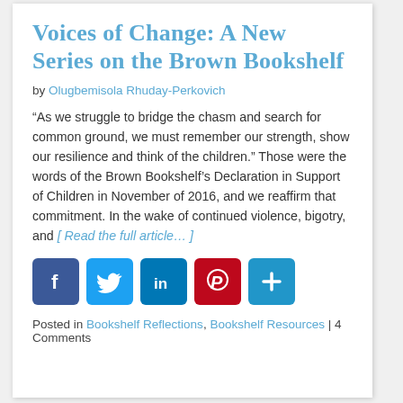Voices of Change: A New Series on the Brown Bookshelf
by Olugbemisola Rhuday-Perkovich
“As we struggle to bridge the chasm and search for common ground, we must remember our strength, show our resilience and think of the children.” Those were the words of the Brown Bookshelf’s Declaration in Support of Children in November of 2016, and we reaffirm that commitment. In the wake of continued violence, bigotry, and [ Read the full article... ]
[Figure (infographic): Social media share buttons: Facebook, Twitter, LinkedIn, Pinterest, and a generic share/plus button]
Posted in Bookshelf Reflections, Bookshelf Resources | 4 Comments